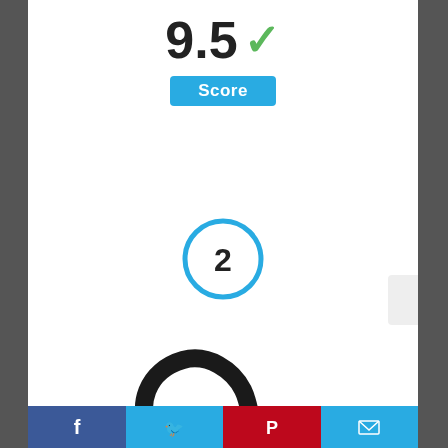9.5 ✓
Score
[Figure (illustration): Circle with number 2 inside, outlined in blue]
[Figure (photo): Hoover upper hose, black curved flexible vacuum hose part for Uh70200/Uh70210]
Hoover Hose, Upper Uh70200/Uh70210
Facebook | Twitter | Pinterest | Email